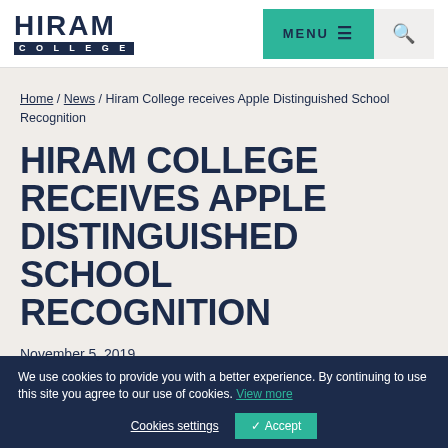HIRAM COLLEGE | MENU | Search
Home / News / Hiram College receives Apple Distinguished School Recognition
HIRAM COLLEGE RECEIVES APPLE DISTINGUISHED SCHOOL RECOGNITION
November 5, 2019
We use cookies to provide you with a better experience. By continuing to use this site you agree to our use of cookies. View more
Cookies settings | ✓ Accept